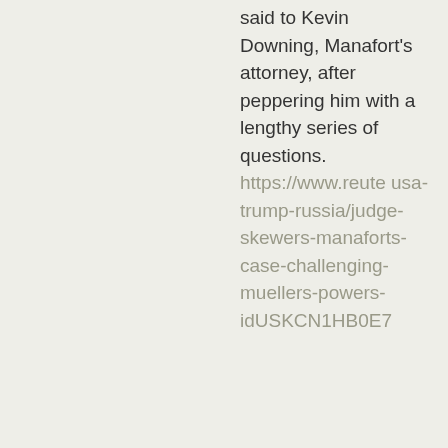said to Kevin Downing, Manafort's attorney, after peppering him with a lengthy series of questions.
https://www.reuters.com/article/us-usa-trump-russia/judge-skewers-manaforts-case-challenging-muellers-powers-idUSKCN1HB0E7